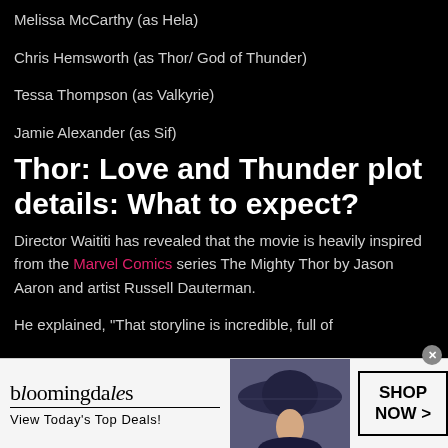Melissa McCarthy (as Hela)
Chris Hemsworth (as Thor/ God of Thunder)
Tessa Thompson (as Valkyrie)
Jamie Alexander (as Sif)
Thor: Love and Thunder plot details: What to expect?
Director Waititi has revealed that the movie is heavily inspired from the Marvel Comics series The Mighty Thor by Jason Aaron and artist Russell Dauterman.
He explained, “That storyline is incredible, full of
[Figure (illustration): Bloomingdales advertisement banner with logo, 'View Today's Top Deals!' tagline, a woman in a wide-brim hat, and a 'SHOP NOW >' button]